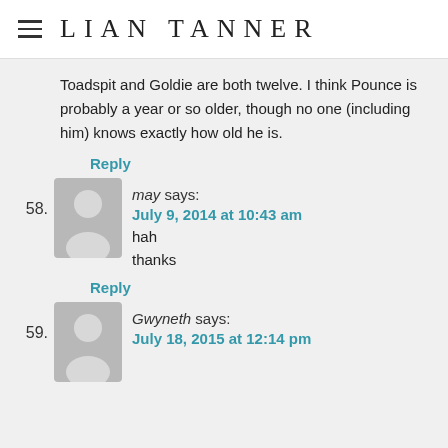LIAN TANNER
Toadspit and Goldie are both twelve. I think Pounce is probably a year or so older, though no one (including him) knows exactly how old he is.
Reply
58. may says:
July 9, 2014 at 10:43 am
hah
thanks
Reply
59. Gwyneth says:
July 18, 2015 at 12:14 pm